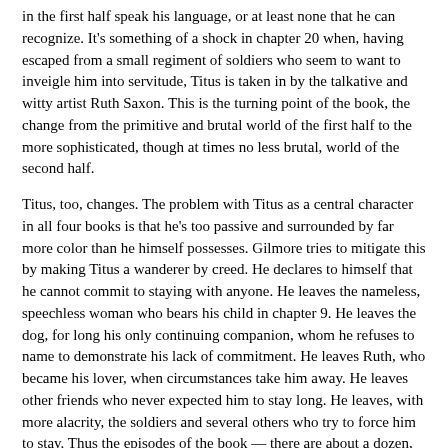in the first half speak his language, or at least none that he can recognize. It's something of a shock in chapter 20 when, having escaped from a small regiment of soldiers who seem to want to inveigle him into servitude, Titus is taken in by the talkative and witty artist Ruth Saxon. This is the turning point of the book, the change from the primitive and brutal world of the first half to the more sophisticated, though at times no less brutal, world of the second half.
Titus, too, changes. The problem with Titus as a central character in all four books is that he's too passive and surrounded by far more color than he himself possesses. Gilmore tries to mitigate this by making Titus a wanderer by creed. He declares to himself that he cannot commit to staying with anyone. He leaves the nameless, speechless woman who bears his child in chapter 9. He leaves the dog, for long his only continuing companion, whom he refuses to name to demonstrate his lack of commitment. He leaves Ruth, who became his lover, when circumstances take him away. He leaves other friends who never expected him to stay long. He leaves, with more alacrity, the soldiers and several others who try to force him to stay. Thus the episodes of the book — there are about a dozen, most of one to three chapters — are driven along.
Up through the turning point at the middle of the story, when he meets Ruth, Titus often thinks of his past and is eager to tell his personal story to any-one he meets who can understand his speech, though he warns them they might not believe it. (There is no recapitulation in the text of Titus Awakes itself, but reading the earlier books is not necessary to